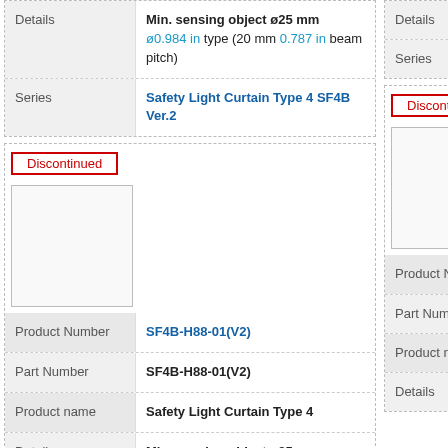| Label | Value |
| --- | --- |
| Details | Min. sensing object ø25 mm ø0.984 in type (20 mm 0.787 in beam pitch) |
| Series | Safety Light Curtain Type 4 SF4B Ver.2 |
Discontinued
[Figure (photo): Product image placeholder (blank white box)]
| Label | Value |
| --- | --- |
| Product Number | SF4B-H88-01(V2) |
| Part Number | SF4B-H88-01(V2) |
| Product name | Safety Light Curtain Type 4 |
| Details | Min. sensing object ø25 mm ø0.984 in type (20 mm 0.787 in beam pitch) |
Discontinued (right column, partially visible)
Details, Series, Product Number, Part Number, Product name, Details (right column, partially visible)